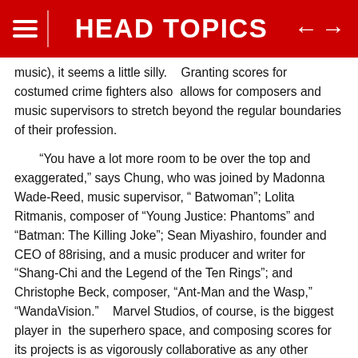HEAD TOPICS
music), it seems a little silly.    Granting scores for costumed crime fighters also  allows for composers and music supervisors to stretch beyond the regular boundaries of their profession.
“You have a lot more room to be over the top and exaggerated,” says Chung, who was joined by Madonna Wade-Reed, music supervisor, “ Batwoman”; Lolita Ritmanis, composer of “Young Justice: Phantoms” and “Batman: The Killing Joke”; Sean Miyashiro, founder and CEO of 88rising, and a music producer and writer for “Shang-Chi and the Legend of the Ten Rings”; and Christophe Beck, composer, “Ant-Man and the Wasp,” “WandaVision.”    Marvel Studios, of course, is the biggest player in  the superhero space, and composing scores for its projects is as vigorously collaborative as any other discipline.    Marvel Studios chief Kevin Feige “is such a student of film music,”